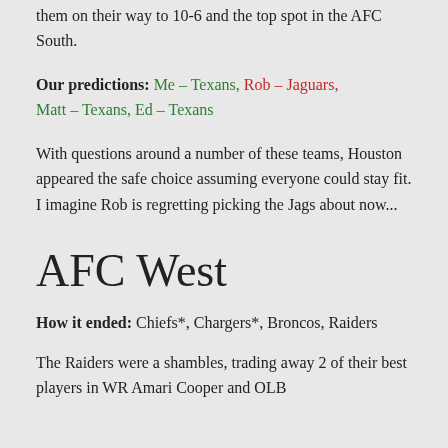them on their way to 10-6 and the top spot in the AFC South.
Our predictions: Me – Texans, Rob – Jaguars, Matt – Texans, Ed – Texans
With questions around a number of these teams, Houston appeared the safe choice assuming everyone could stay fit. I imagine Rob is regretting picking the Jags about now...
AFC West
How it ended: Chiefs*, Chargers*, Broncos, Raiders
The Raiders were a shambles, trading away 2 of their best players in WR Amari Cooper and OLB